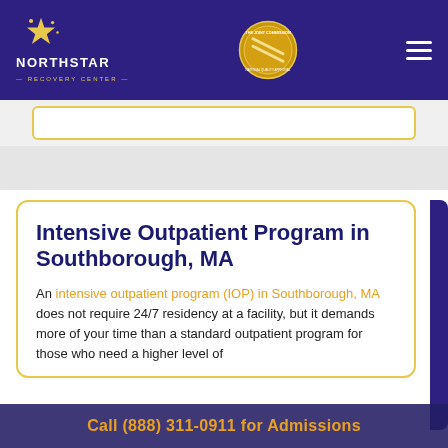[Figure (logo): Northstar Recovery Center logo with gold star and text on dark blue header background, with The Joint Commission gold seal badge and hamburger menu icon]
Intensive Outpatient Program in Southborough, MA
An intensive outpatient program (IOP) in Southborough, MA does not require 24/7 residency at a facility, but it demands more of your time than a standard outpatient program for those who need a higher level of
Call (888) 311-0911 for Admissions